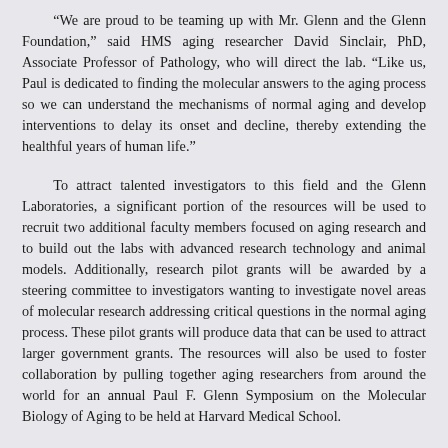"We are proud to be teaming up with Mr. Glenn and the Glenn Foundation," said HMS aging researcher David Sinclair, PhD, Associate Professor of Pathology, who will direct the lab. "Like us, Paul is dedicated to finding the molecular answers to the aging process so we can understand the mechanisms of normal aging and develop interventions to delay its onset and decline, thereby extending the healthful years of human life."
To attract talented investigators to this field and the Glenn Laboratories, a significant portion of the resources will be used to recruit two additional faculty members focused on aging research and to build out the labs with advanced research technology and animal models. Additionally, research pilot grants will be awarded by a steering committee to investigators wanting to investigate novel areas of molecular research addressing critical questions in the normal aging process. These pilot grants will produce data that can be used to attract larger government grants. The resources will also be used to foster collaboration by pulling together aging researchers from around the world for an annual Paul F. Glenn Symposium on the Molecular Biology of Aging to be held at Harvard Medical School.
"We structured this partnership in a way that recognizes the key drivers in the scientific process, so that the resources would